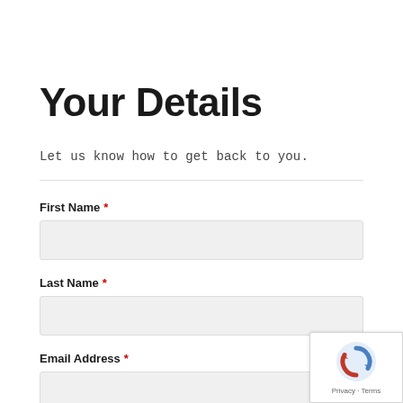Your Details
Let us know how to get back to you.
First Name *
Last Name *
Email Address *
[Figure (other): reCAPTCHA badge with Privacy and Terms links]